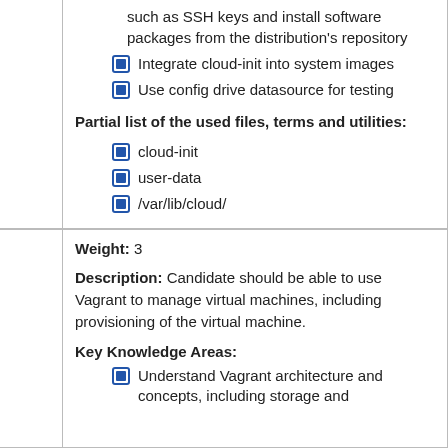such as SSH keys and install software packages from the distribution's repository
Integrate cloud-init into system images
Use config drive datasource for testing
Partial list of the used files, terms and utilities:
cloud-init
user-data
/var/lib/cloud/
Weight: 3
Description: Candidate should be able to use Vagrant to manage virtual machines, including provisioning of the virtual machine.
Key Knowledge Areas:
Understand Vagrant architecture and concepts, including storage and